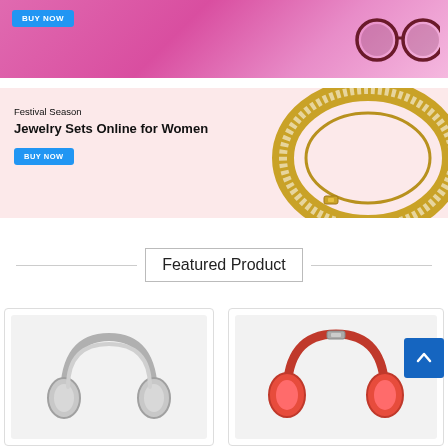[Figure (photo): Pink/purple gradient promotional banner with a blue BUY NOW button and glasses/sunglasses at the right]
[Figure (photo): Light pink banner advertising 'Festival Season - Jewelry Sets Online for Women' with a gold diamond bangle bracelet on the right and a BUY NOW button]
Featured Product
[Figure (photo): White/silver over-ear headphones on light gray background]
[Figure (photo): Red over-ear headphones on light gray background]